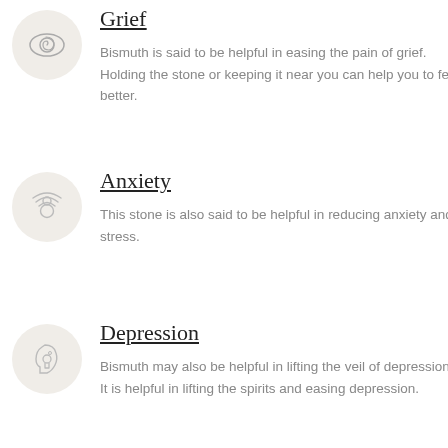[Figure (illustration): Eye with spiral pupil icon inside a circular beige background]
Grief
Bismuth is said to be helpful in easing the pain of grief. Holding the stone or keeping it near you can help you to feel better.
[Figure (illustration): Person with arc/shelter above them icon inside a circular beige background]
Anxiety
This stone is also said to be helpful in reducing anxiety and stress.
[Figure (illustration): Head profile with keyhole icon inside a circular beige background]
Depression
Bismuth may also be helpful in lifting the veil of depression. It is helpful in lifting the spirits and easing depression.